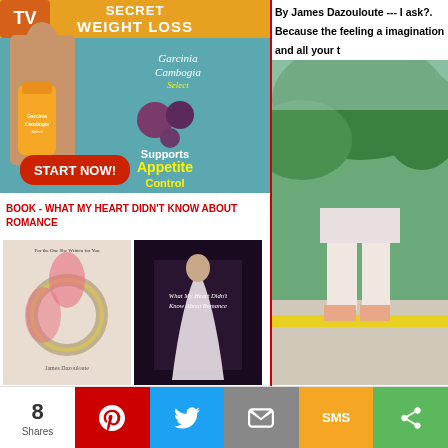[Figure (photo): Garcinia Cambogia Select weight loss supplement advertisement with woman in bikini, product bottle, fruits, and 'START NOW!' button. Text: SECRET WEIGHT LOSS, Supports Appetite Control]
BOOK - WHAT MY HEART DIDN'T KNOW ABOUT ROMANCE
[Figure (photo): Two book covers side by side: left is a romance book with a ring, right is 'What My Heart Didn't Know About Romance' with a couple]
By James Dazouloute --- I ask?. Because the feeling a imagination and all your t
[Figure (photo): Partial photo of a person outdoors near trees and a yellow curb, only legs and lower body visible]
8 Shares | Pinterest | Twitter | Email | SMS | Share